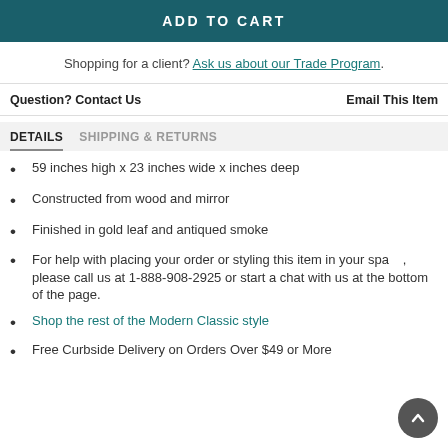ADD TO CART
Shopping for a client? Ask us about our Trade Program.
Question? Contact Us  Email This Item
DETAILS   SHIPPING & RETURNS
59 inches high x 23 inches wide x inches deep
Constructed from wood and mirror
Finished in gold leaf and antiqued smoke
For help with placing your order or styling this item in your space, please call us at 1-888-908-2925 or start a chat with us at the bottom of the page.
Shop the rest of the Modern Classic style
Free Curbside Delivery on Orders Over $49 or More